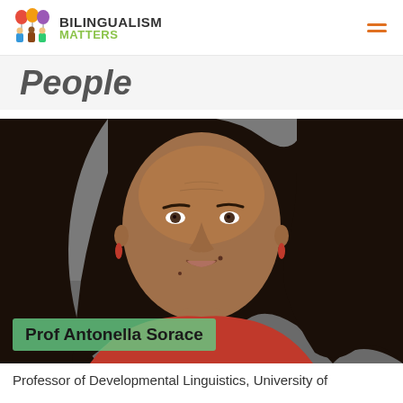BILINGUALISM MATTERS
People
[Figure (photo): Headshot of Prof Antonella Sorace, a woman with long dark hair wearing a red top, smiling, against a grey background]
Prof Antonella Sorace
Professor of Developmental Linguistics, University of